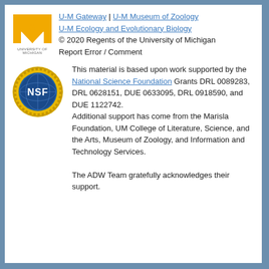[Figure (logo): University of Michigan block M logo in gold/yellow with 'UNIVERSITY OF MICHIGAN' text below]
U-M Gateway | U-M Museum of Zoology
U-M Ecology and Evolutionary Biology
© 2020 Regents of the University of Michigan
Report Error / Comment
[Figure (logo): NSF (National Science Foundation) circular badge/seal logo with globe and gold sunburst border]
This material is based upon work supported by the National Science Foundation Grants DRL 0089283, DRL 0628151, DUE 0633095, DRL 0918590, and DUE 1122742. Additional support has come from the Marisla Foundation, UM College of Literature, Science, and the Arts, Museum of Zoology, and Information and Technology Services.
The ADW Team gratefully acknowledges their support.